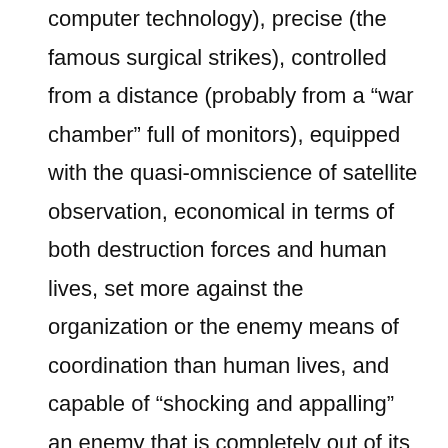computer technology), precise (the famous surgical strikes), controlled from a distance (probably from a “war chamber” full of monitors), equipped with the quasi-omniscience of satellite observation, economical in terms of both destruction forces and human lives, set more against the organization or the enemy means of coordination than human lives, and capable of “shocking and appalling” an enemy that is completely out of its depth.

Whereas the idea of a “zero casuality” war has been a journalistic invention rather than a real doctrine formulated by the Pentagon, the notion is spreading faster than the facts to express which the comes from